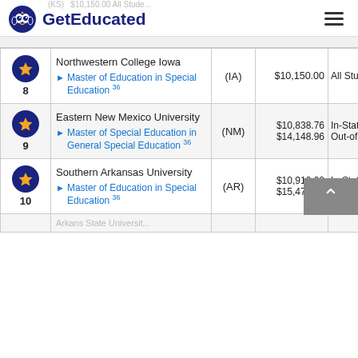GetEducated
| Rank | School | State | Price | Type |
| --- | --- | --- | --- | --- |
| 8 | Northwestern College Iowa — Master of Education in Special Education 36 | (IA) | $10,150.00 | All Students |
| 9 | Eastern New Mexico University — Master of Special Education in General Special Education 36 | (NM) | $10,838.76 In-State / $14,148.96 Out-of-State |  |
| 10 | Southern Arkansas University — Master of Education in Special Education 36 | (AR) | $10,910.00 In-State / $15,470.00 Out-of-State |  |